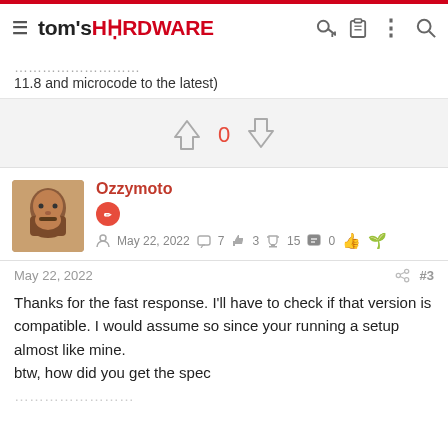tom's HARDWARE
11.8 and microcode to the latest)
[Figure (infographic): Vote up/down widget showing 0 votes with up and down arrow icons]
Ozzymoto
May 22, 2022  7  3  15  0
May 22, 2022  #3
Thanks for the fast response. I'll have to check if that version is compatible. I would assume so since your running a setup almost like mine.
btw, how did you get the spec